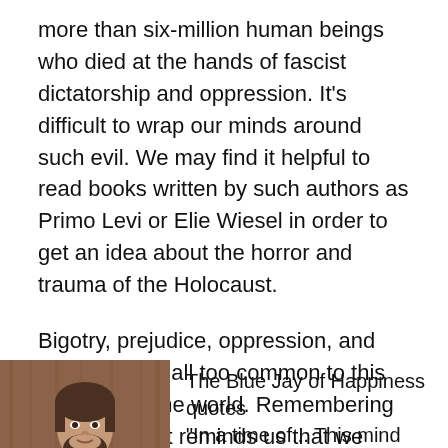more than six-million human beings who died at the hands of fascist dictatorship and oppression. It's difficult to wrap our minds around such evil. We may find it helpful to read books written by such authors as Primo Levi or Elie Wiesel in order to get an idea about the horror and trauma of the Holocaust.
Bigotry, prejudice, oppression, and genocide are all too common to this day around the world. Remembering the Holocaust reminds us that we cannot afford to be indifferent to the immense suffering still present under oppressive regimes.
Namaste
[Figure (photo): Portrait photo of a man with a beard, shown from shoulders up against a wooden background.]
The Blue Jay of Happiness quotes “In a time of... This mind of...